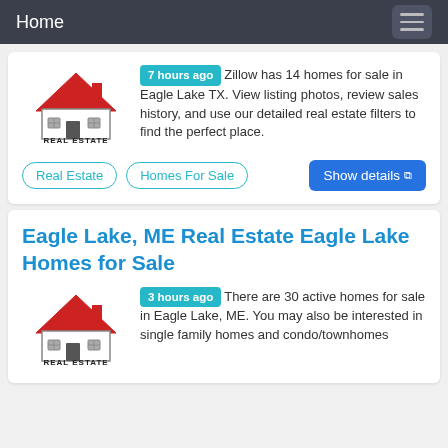Home
[Figure (logo): Real Estate logo with red house roof icon and text REAL ESTATE]
7 hours ago Zillow has 14 homes for sale in Eagle Lake TX. View listing photos, review sales history, and use our detailed real estate filters to find the perfect place.
Real Estate
Homes For Sale
Show details
Eagle Lake, ME Real Estate Eagle Lake Homes for Sale
[Figure (logo): Real Estate logo with red house roof icon and text REAL ESTATE]
3 hours ago There are 30 active homes for sale in Eagle Lake, ME. You may also be interested in single family homes and condo/townhomes for sale in Eagle Lake, ME.